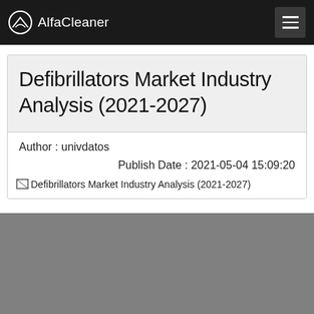AlfaCleaner
Defibrillators Market Industry Analysis (2021-2027)
Author : univdatos
Publish Date : 2021-05-04 15:09:20
[Figure (photo): Broken image placeholder for Defibrillators Market Industry Analysis (2021-2027), followed by a gray placeholder image block]
Defibrillators Market Industry Analysis (2021-2027)